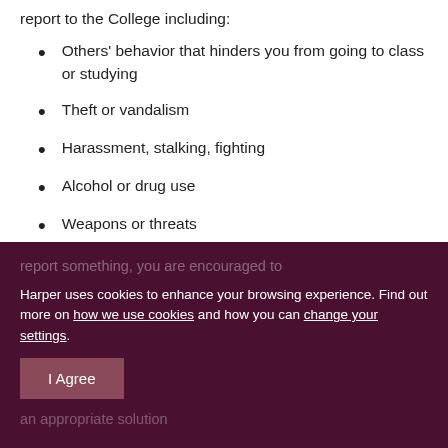report to the College including:
Others' behavior that hinders you from going to class or studying
Theft or vandalism
Harassment, stalking, fighting
Alcohol or drug use
Weapons or threats
Even if you are not sure whether or not you should report something, you are encouraged to...
Harper uses cookies to enhance your browsing experience. Find out more on how we use cookies and how you can change your settings.
I Agree